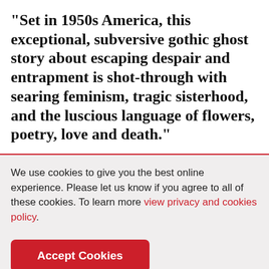"Set in 1950s America, this exceptional, subversive gothic ghost story about escaping despair and entrapment is shot-through with searing feminism, tragic sisterhood, and the luscious language of flowers, poetry, love and death."
We use cookies to give you the best online experience. Please let us know if you agree to all of these cookies. To learn more view privacy and cookies policy.
Accept Cookies